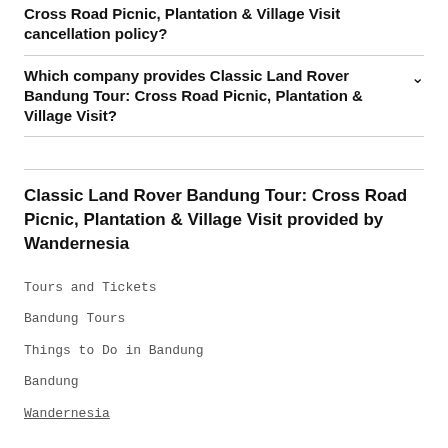Cross Road Picnic, Plantation & Village Visit cancellation policy?
Which company provides Classic Land Rover Bandung Tour: Cross Road Picnic, Plantation & Village Visit?
Classic Land Rover Bandung Tour: Cross Road Picnic, Plantation & Village Visit provided by Wandernesia
Tours and Tickets
Bandung Tours
Things to Do in Bandung
Bandung
Wandernesia